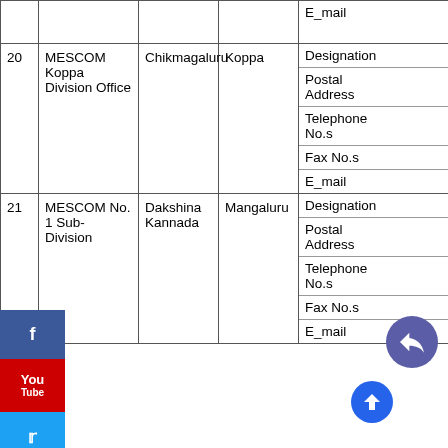| No. | Name | District | HQ | Info |
| --- | --- | --- | --- | --- |
|  |  |  |  | E_mail |
| 20 | MESCOM Koppa Division Office | Chikmagaluru | Koppa | Designation |
|  |  |  |  | Postal Address |
|  |  |  |  | Telephone No.s |
|  |  |  |  | Fax No.s |
|  |  |  |  | E_mail |
| 21 | MESCOM No. 1 Sub-Division | Dakshina Kannada | Mangaluru | Designation |
|  |  |  |  | Postal Address |
|  |  |  |  | Telephone No.s |
|  |  |  |  | Fax No.s |
|  |  |  |  | E_mail |